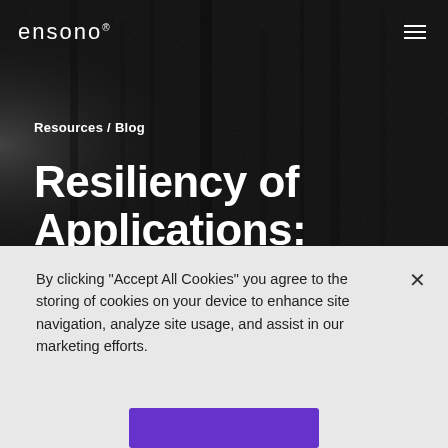ensono
Resources / Blog
Resiliency of Applications:
By clicking “Accept All Cookies” you agree to the storing of cookies on your device to enhance site navigation, analyze site usage, and assist in our marketing efforts.